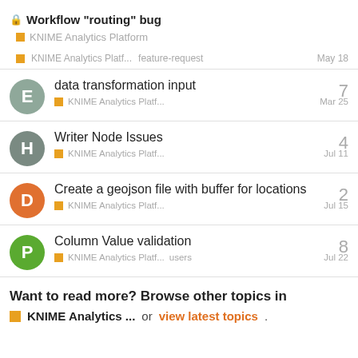Workflow “routing” bug
KNIME Analytics Platform
KNIME Analytics Platf...   feature-request   May 18
data transformation input
KNIME Analytics Platf...   Mar 25   7
Writer Node Issues
KNIME Analytics Platf...   Jul 11   4
Create a geojson file with buffer for locations
KNIME Analytics Platf...   Jul 15   2
Column Value validation
KNIME Analytics Platf...   users   Jul 22   8
Want to read more? Browse other topics in
KNIME Analytics ...   or view latest topics.